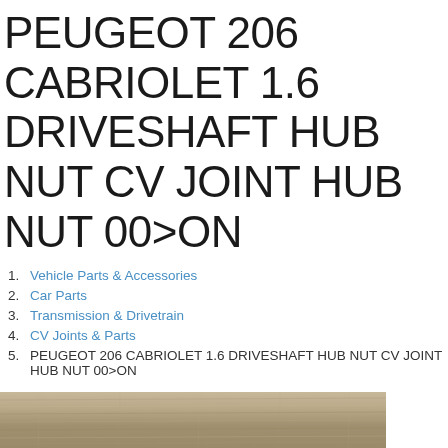PEUGEOT 206 CABRIOLET 1.6 DRIVESHAFT HUB NUT CV JOINT HUB NUT 00>ON
1. Vehicle Parts & Accessories
2. Car Parts
3. Transmission & Drivetrain
4. CV Joints & Parts
5. PEUGEOT 206 CABRIOLET 1.6 DRIVESHAFT HUB NUT CV JOINT HUB NUT 00>ON
[Figure (photo): Photo of a wooden/textured surface, partially visible at the bottom of the page]